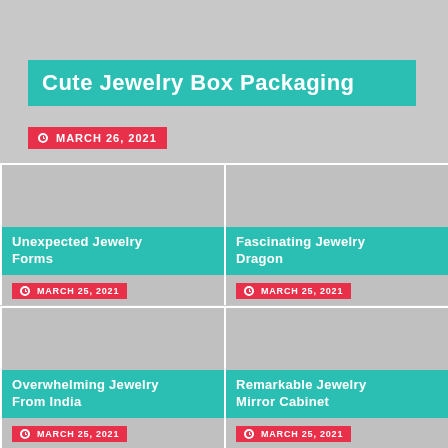Cute Jewelry Box Packaging
MARCH 26, 2021
Unexpected Jewelry Forms
MARCH 25, 2021
Fascinating Jewelry Dragon
MARCH 25, 2021
Overwhelming Jewelry From India
MARCH 25, 2021
Remarkable Jewelry Mirror Cabinet
MARCH 25, 2021